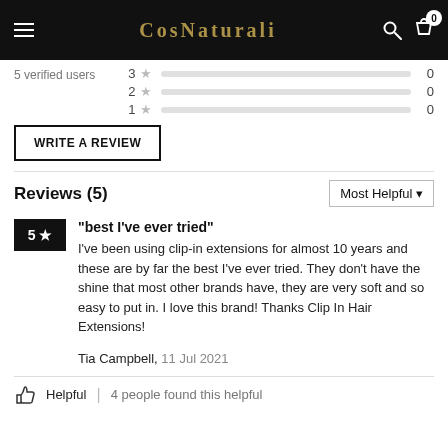CosNaturali header with logo, menu, search, bag icons
5 verified users  3 ★  0
2 ★  0
1 ★  0
WRITE A REVIEW
Reviews (5)
Most Helpful ▾
"best I've ever tried"
I've been using clip-in extensions for almost 10 years and these are by far the best I've ever tried. They don't have the shine that most other brands have, they are very soft and so easy to put in. I love this brand! Thanks Clip In Hair Extensions!
Tia Campbell, 11 Jul 2021
Helpful  |  4 people found this helpful